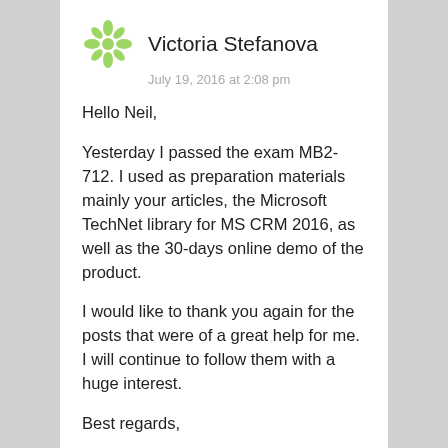Victoria Stefanova
July 19, 2016 at 2:08 pm
Hello Neil,
Yesterday I passed the exam MB2-712. I used as preparation materials mainly your articles, the Microsoft TechNet library for MS CRM 2016, as well as the 30-days online demo of the product.
I would like to thank you again for the posts that were of a great help for me. I will continue to follow them with a huge interest.
Best regards,
Victoria
Liked by 1 person
Reply